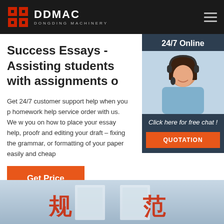DDMAC DONGDING MACHINERY
Success Essays - Assisting students with assignments o
Get 24/7 customer support help when you p homework help service order with us. We w you on how to place your essay help, proofr and editing your draft – fixing the grammar, or formatting of your paper easily and cheap
[Figure (photo): Customer support agent wearing headset, smiling, with '24/7 Online' header and 'Click here for free chat! QUOTATION' button overlay]
Get Price
[Figure (photo): Interior room or corridor with Chinese characters 规 and 范 visible on signs]